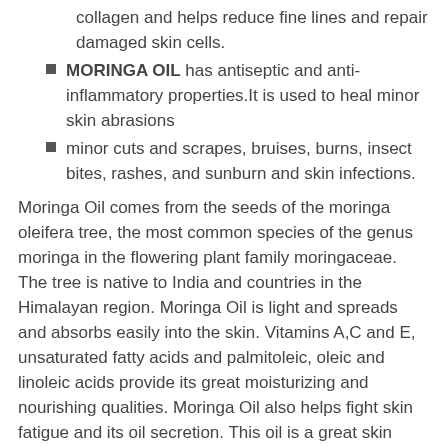collagen and helps reduce fine lines and repair damaged skin cells.
MORINGA OIL has antiseptic and anti-inflammatory properties.It is used to heal minor skin abrasions
minor cuts and scrapes, bruises, burns, insect bites, rashes, and sunburn and skin infections.
Moringa Oil comes from the seeds of the moringa oleifera tree, the most common species of the genus moringa in the flowering plant family moringaceae. The tree is native to India and countries in the Himalayan region. Moringa Oil is light and spreads and absorbs easily into the skin. Vitamins A,C and E, unsaturated fatty acids and palmitoleic, oleic and linoleic acids provide its great moisturizing and nourishing qualities. Moringa Oil also helps fight skin fatigue and its oil secretion. This oil is a great skin purifier that makes your skin glow naturally. The recommended usage is between 1-5% up to 100%.